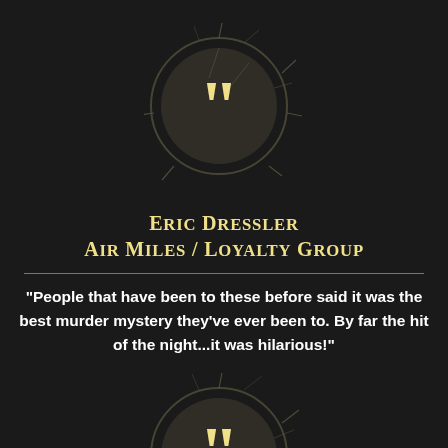[Figure (illustration): Large stylized quotation mark icon with cracked/shattered circular background in dark olive/gold tones, positioned at top center]
Eric Dressler
Air Miles / Loyalty Group
"People that have been to these before said it was the best murder mystery they've ever been to. By far the hit of the night...it was hilarious!"
[Figure (illustration): Large stylized quotation mark icon with cracked/shattered circular background in dark olive/gold tones, positioned at bottom center (partially cropped)]